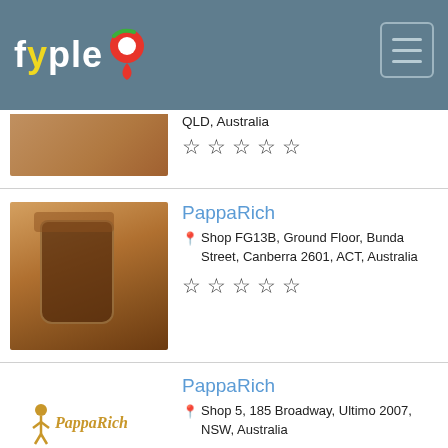fyple [logo] — navigation app header
QLD, Australia
★★★★★ (empty stars)
PappaRich
Shop FG13B, Ground Floor, Bunda Street, Canberra 2601, ACT, Australia
☆☆☆☆☆
PappaRich
Shop 5, 185 Broadway, Ultimo 2007, NSW, Australia
☆☆☆☆☆
PappaRich
Shop G13-G14, Little Saigon Plaza, 462 Chapel Road, Bankstown 2200, NSW, Australia
☆☆☆☆☆